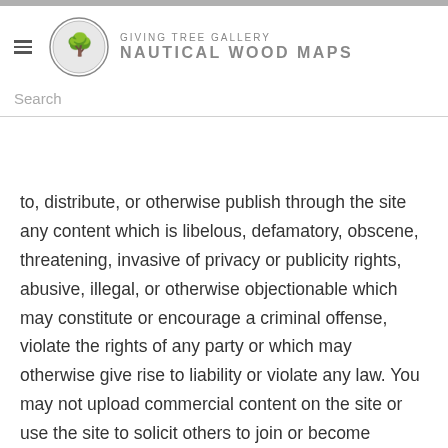GIVING TREE GALLERY NAUTICAL WOOD MAPS
Search
to, distribute, or otherwise publish through the site any content which is libelous, defamatory, obscene, threatening, invasive of privacy or publicity rights, abusive, illegal, or otherwise objectionable which may constitute or encourage a criminal offense, violate the rights of any party or which may otherwise give rise to liability or violate any law. You may not upload commercial content on the site or use the site to solicit others to join or become members of any other commercial online service or other organization.